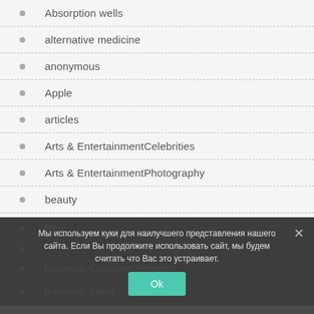Absorption wells
alternative medicine
anonymous
Apple
articles
Arts & EntertainmentCelebrities
Arts & EntertainmentPhotography
beauty
Blog
Business: Customer Service
Business: Sales
Мы используем куки для наилучшего представления нашего сайта. Если Вы продолжите использовать сайт, мы будем считать что Вас это устраивает.